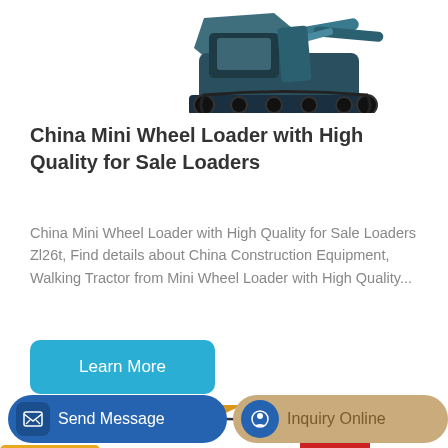[Figure (photo): Mini excavator/crawler machine with bucket attachment, top portion visible on white background]
China Mini Wheel Loader with High Quality for Sale Loaders
China Mini Wheel Loader with High Quality for Sale Loaders Zl26t, Find details about China Construction Equipment, Walking Tractor from Mini Wheel Loader with High Quality...
[Figure (other): Learn More button - teal/blue rounded rectangle]
[Figure (photo): Yellow XCMG excavator arm and cab visible, partially cropped at bottom of page]
[Figure (other): Bottom action bar with Send Message button (dark blue) and Inquiry Online button (tan/gold)]